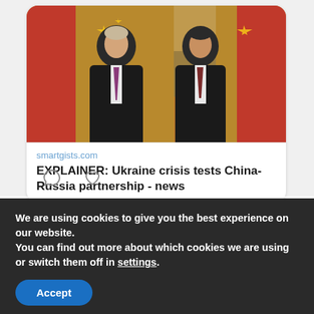[Figure (photo): Photo of two men in black suits standing in front of Chinese and Russian flags — Vladimir Putin on the left and Xi Jinping on the right, used as a news article thumbnail.]
smartgists.com
EXPLAINER: Ukraine crisis tests China-Russia partnership - news
We are using cookies to give you the best experience on our website.
You can find out more about which cookies we are using or switch them off in settings.
Accept